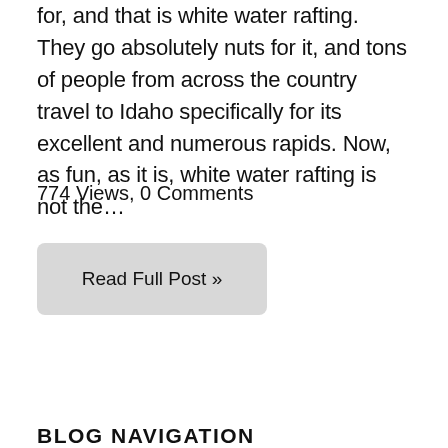for, and that is white water rafting. They go absolutely nuts for it, and tons of people from across the country travel to Idaho specifically for its excellent and numerous rapids. Now, as fun, as it is, white water rafting is not the…
774 Views, 0 Comments
Read Full Post »
BLOG NAVIGATION